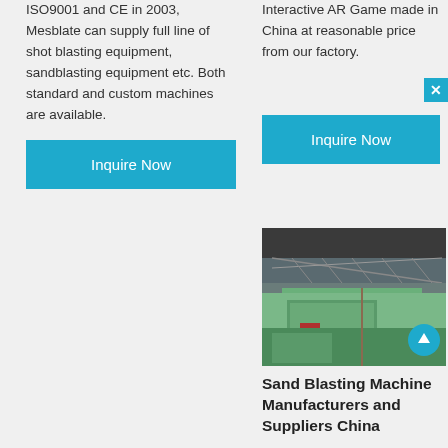ISO9001 and CE in 2003, Mesblate can supply full line of shot blasting equipment, sandblasting equipment etc. Both standard and custom machines are available.
Inquire Now
Interactive AR Game made in China at reasonable price from our factory.
Inquire Now
[Figure (photo): Industrial sand blasting machine or equipment photo showing green structure with metal framework and water/outdoor setting]
Sand Blasting Machine Manufacturers and Suppliers China
Sand Blasting Machine. Sand blasting machine. Sand blast